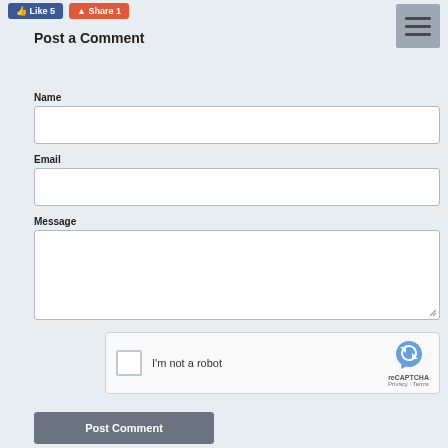[Figure (screenshot): Social media Like and Share buttons at top left, and a hamburger menu icon at top right]
Post a Comment
Name
[Figure (screenshot): Empty text input field for Name]
Email
[Figure (screenshot): Empty text input field for Email]
Message
[Figure (screenshot): Empty textarea for Message with resize handle]
[Figure (screenshot): reCAPTCHA widget with checkbox, I'm not a robot text, and reCAPTCHA logo with Privacy and Terms links]
[Figure (screenshot): Post Comment button in gray]